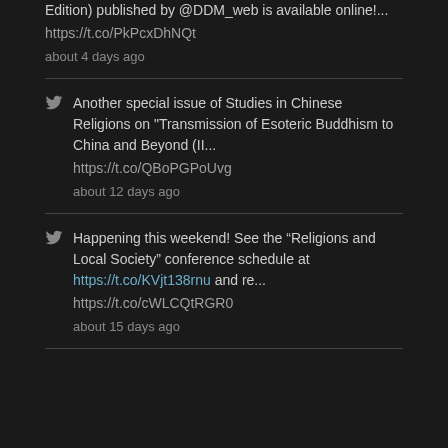Edition) published by @DDM_web is available online!...
https://t.co/PkPcxDhNQt
about 4 days ago
Another special issue of Studies in Chinese Religions on "Transmission of Esoteric Buddhism to China and Beyond (II...
https://t.co/QBoPGPoUvg
about 12 days ago
Happening this weekend! See the “Religions and Local Society” conference schedule at https://t.co/KVjt138rnu and re...
https://t.co/cWLCQtRGR0
about 15 days ago